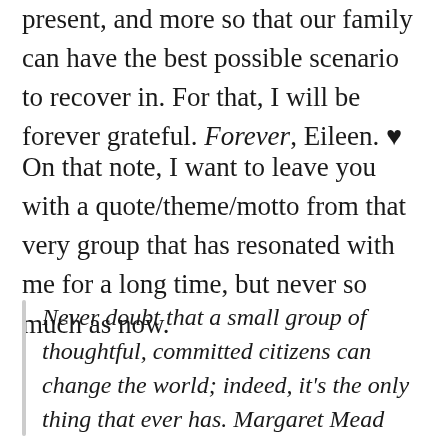present, and more so that our family can have the best possible scenario to recover in. For that, I will be forever grateful. Forever, Eileen. ♥
On that note, I want to leave you with a quote/theme/motto from that very group that has resonated with me for a long time, but never so much as now.
Never doubt that a small group of thoughtful, committed citizens can change the world; indeed, it's the only thing that ever has. Margaret Mead